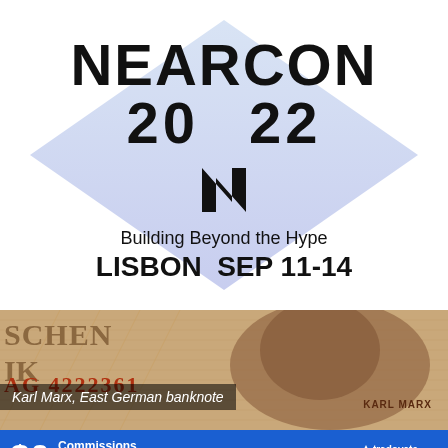[Figure (logo): NEARCON 2022 logo with diamond/arrow shape background in light blue/purple gradient. Text: NEARCON, 20 22, NEAR logo symbol, Building Beyond the Hype, LISBON SEP 11-14]
[Figure (photo): Close-up photo of East German banknote featuring Karl Marx. Partial text visible: SCHEN, IK, serial number AG 4222361, KARL MARX label at bottom right.]
Karl Marx, East German banknote
[Figure (infographic): Advertisement banner: $0 Commissions, Market Data Fees, On Nano Crypto Futures. Learn More button. Tradovate + Coinbase Derivatives logos.]